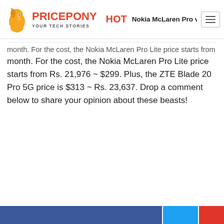PRICEPONY YOUR TECH STORIES | HOT | Nokia McLaren Pro vs. Xiaomi Mix Fold 2 16GB
month. For the cost, the Nokia McLaren Pro Lite price starts from Rs. 21,976 ~ $299. Plus, the ZTE Blade 20 Pro 5G price is $313 ~ Rs. 23,637. Drop a comment below to share your opinion about these beasts!